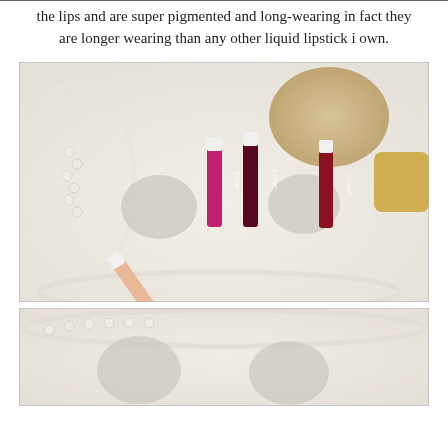the lips and are super pigmented and long-wearing in fact they are longer wearing than any other liquid lipstick i own.
[Figure (photo): Four LaBelle matte lip color tubes arranged on a white fluffy surface with pearl necklaces, rhinestone brooches, a dried floral decoration, and gold bow accessories. The lip colors include a nude/peach, hot pink/fuchsia, deep burgundy/wine, and deep red shade.]
[Figure (photo): Partial view of the same white fluffy surface with pearl necklaces and rhinestone brooches, showing the bottom portion of a similar flat-lay beauty product arrangement.]